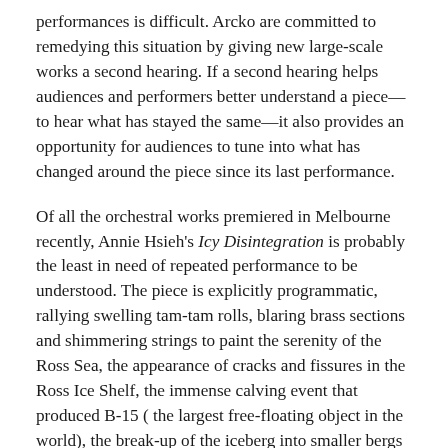performances is difficult. Arcko are committed to remedying this situation by giving new large-scale works a second hearing. If a second hearing helps audiences and performers better understand a piece—to hear what has stayed the same—it also provides an opportunity for audiences to tune into what has changed around the piece since its last performance.
Of all the orchestral works premiered in Melbourne recently, Annie Hsieh's Icy Disintegration is probably the least in need of repeated performance to be understood. The piece is explicitly programmatic, rallying swelling tam-tam rolls, blaring brass sections and shimmering strings to paint the serenity of the Ross Sea, the appearance of cracks and fissures in the Ross Ice Shelf, the immense calving event that produced B-15 ( the largest free-floating object in the world), the break-up of the iceberg into smaller bergs and floes and a scene of nostalgic calm. But never has a piece sounded so urgent in the Northcote Town Hall. Recent reports from the Intergovernmental Panel on Climate Change and the United Nations Environment Program have